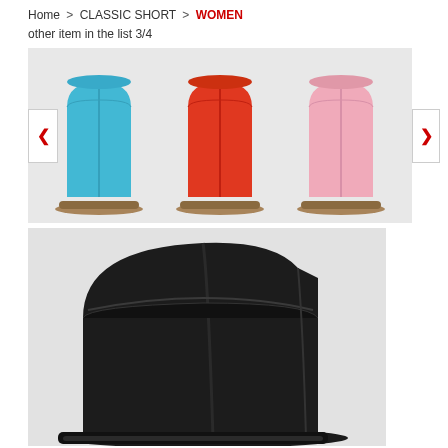Home > CLASSIC SHORT > WOMEN
other item in the list 3/4
[Figure (photo): Carousel showing three UGG Classic Short boots in teal/blue, red/orange, and pink colors on a light gray background, with left and right navigation arrows]
[Figure (photo): Close-up photo of a black UGG Classic Short boot on a light gray background, showing the suede upper and sheepskin lining at the top]